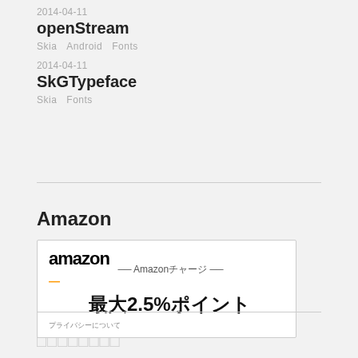2014-04-11
openStream
Skia   Android   Fonts
2014-04-11
SkGTypeface
Skia   Fonts
Amazon
[Figure (other): Amazon ad banner: amazon logo with smile, text 'Amazonチャージ 最大2.5%ポイント', プライバシーについて]
□□□□□□□□